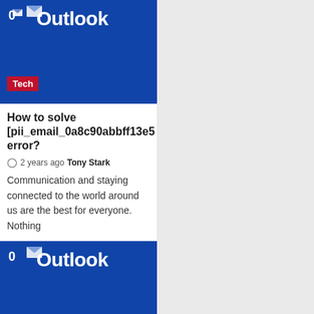[Figure (screenshot): Outlook logo on blue background with Tech badge - left card top]
[Figure (screenshot): Outlook logo on blue background with Tech badge - right card top]
How to solve [pii_email_0a8c90abbff13e5 error?
2 years ago  Tony Stark
Communication and staying connected to the world around us are the best for everyone. Nothing
How to solve [pii_email_e044b017160cc error?
2 years ago  Tony Stark
Communication and staying connected to the world around us are the best for everyone. Nothing
[Figure (screenshot): Blue Outlook image block - bottom left]
[Figure (screenshot): Blue Outlook image block - bottom right with scroll-to-top button]